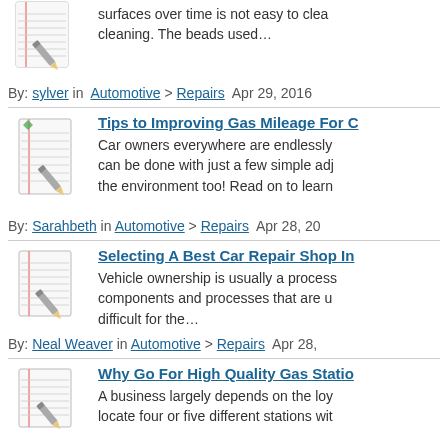surfaces over time is not easy to clear cleaning. The beads used…
By: sylver in Automotive > Repairs Apr 29, 2016
Tips to Improving Gas Mileage For Car And Truck Drivers
Car owners everywhere are endlessly can be done with just a few simple adj the environment too! Read on to learn
By: Sarahbeth in Automotive > Repairs Apr 28, 20
Selecting A Best Car Repair Shop In
Vehicle ownership is usually a process components and processes that are u difficult for the…
By: Neal Weaver in Automotive > Repairs Apr 28,
Why Go For High Quality Gas Statio
A business largely depends on the loy locate four or five different stations wit